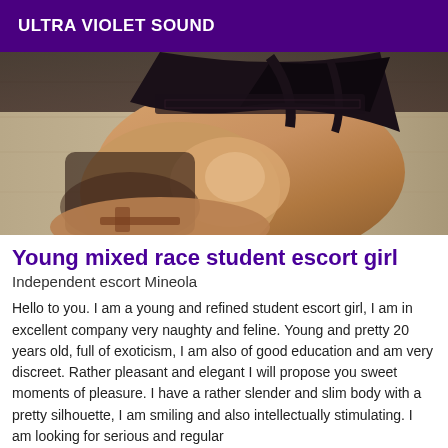ULTRA VIOLET SOUND
[Figure (photo): Close-up photo of a young woman in black lingerie, posed on a wooden floor background]
Young mixed race student escort girl
Independent escort Mineola
Hello to you. I am a young and refined student escort girl, I am in excellent company very naughty and feline. Young and pretty 20 years old, full of exoticism, I am also of good education and am very discreet. Rather pleasant and elegant I will propose you sweet moments of pleasure. I have a rather slender and slim body with a pretty silhouette, I am smiling and also intellectually stimulating. I am looking for serious and regular